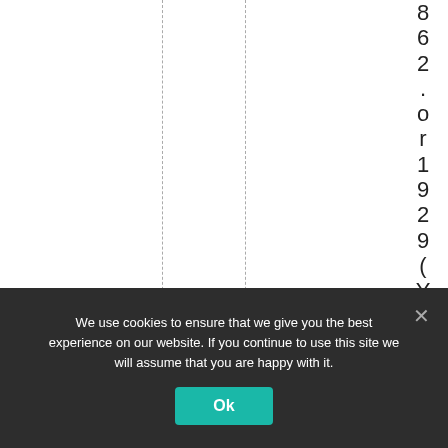862.or1929(Yonge),
We use cookies to ensure that we give you the best experience on our website. If you continue to use this site we will assume that you are happy with it. Ok